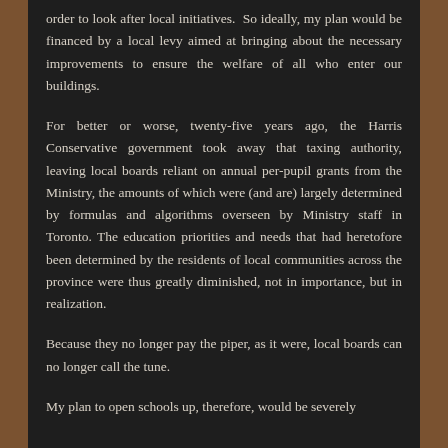order to look after local initiatives.  So ideally, my plan would be financed by a local levy aimed at bringing about the necessary improvements to ensure the welfare of all who enter our buildings.
For better or worse, twenty-five years ago, the Harris Conservative government took away that taxing authority, leaving local boards reliant on annual per-pupil grants from the Ministry, the amounts of which were (and are) largely determined by formulas and algorithms overseen by Ministry staff in Toronto. The education priorities and needs that had heretofore been determined by the residents of local communities across the province were thus greatly diminished, not in importance, but in realization.
Because they no longer pay the piper, as it were, local boards can no longer call the tune.
My plan to open schools up, therefore, would be severely